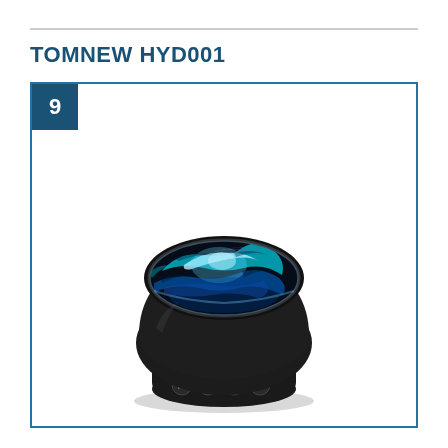TOMNEW HYD001
[Figure (photo): TOMNEW HYD001 ocean wave projector lamp - a black dome-shaped device with a transparent top bowl displaying colorful blue, teal and rainbow LED light projections simulating ocean waves. The base has control buttons.]